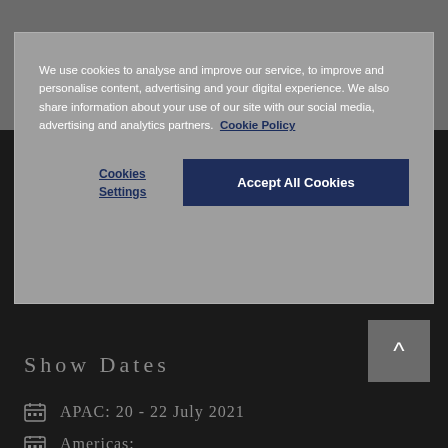We use cookies to analyse and improve our service, to improve and personalise content, advertising and your digital experience. We also share information about your use of our site with our social media, advertising and analytics partners.  Cookie Policy
Cookies Settings
Accept All Cookies
Show Dates
APAC: 20 - 22 July 2021